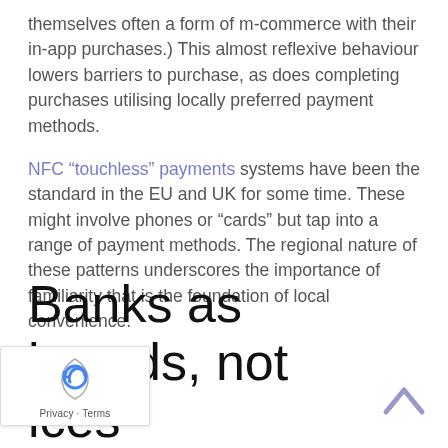themselves often a form of m-commerce with their in-app purchases.) This almost reflexive behaviour lowers barriers to purchase, as does completing purchases utilising locally preferred payment methods.
NFC “touchless” payments systems have been the standard in the EU and UK for some time. These might involve phones or “cards” but tap into a range of payment methods. The regional nature of these patterns underscores the importance of familiarity that is the foundation of local convenience.
Banks as brands, not ices